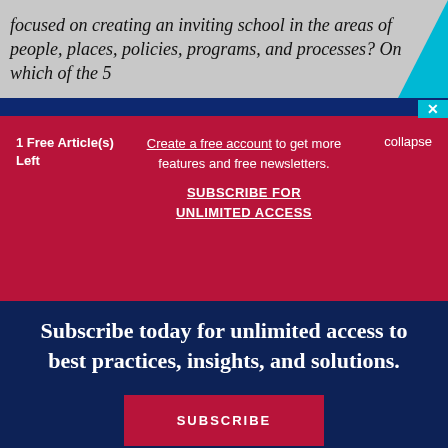focused on creating an inviting school in the areas of people, places, policies, programs, and processes? On which of the 5
1 Free Article(s) Left
Create a free account to get more features and free newsletters.
SUBSCRIBE FOR UNLIMITED ACCESS
collapse
Subscribe today for unlimited access to best practices, insights, and solutions.
SUBSCRIBE